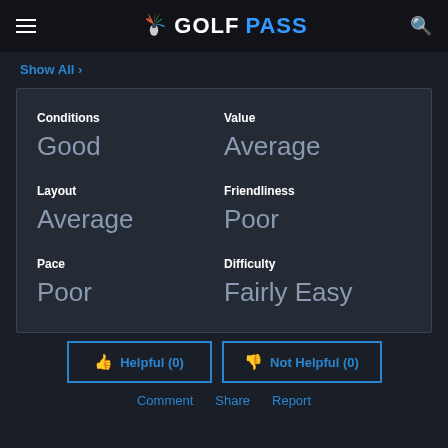GOLFPASS
Show All
| Category | Value |
| --- | --- |
| Conditions | Value |
| Good | Average |
| Layout | Friendliness |
| Average | Poor |
| Pace | Difficulty |
| Poor | Fairly Easy |
Helpful (0)
Not Helpful (0)
Comment   Share   Report